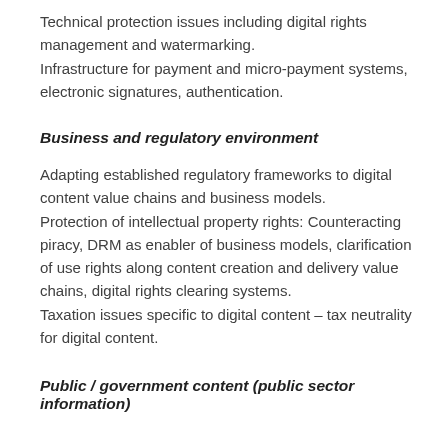Technical protection issues including digital rights management and watermarking.
Infrastructure for payment and micro-payment systems, electronic signatures, authentication.
Business and regulatory environment
Adapting established regulatory frameworks to digital content value chains and business models.
Protection of intellectual property rights: Counteracting piracy, DRM as enabler of business models, clarification of use rights along content creation and delivery value chains, digital rights clearing systems.
Taxation issues specific to digital content – tax neutrality for digital content.
Public / government content (public sector information) and applications